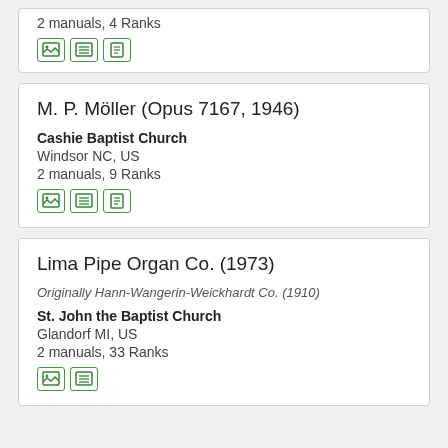2 manuals, 4 Ranks
[Figure (other): Three green icon buttons: image, list, document]
M. P. Möller (Opus 7167, 1946)
Cashie Baptist Church
Windsor NC, US
2 manuals, 9 Ranks
[Figure (other): Three green icon buttons: image, list, document]
Lima Pipe Organ Co. (1973)
Originally Hann-Wangerin-Weickhardt Co. (1910)
St. John the Baptist Church
Glandorf MI, US
2 manuals, 33 Ranks
[Figure (other): Two green icon buttons: image, list]